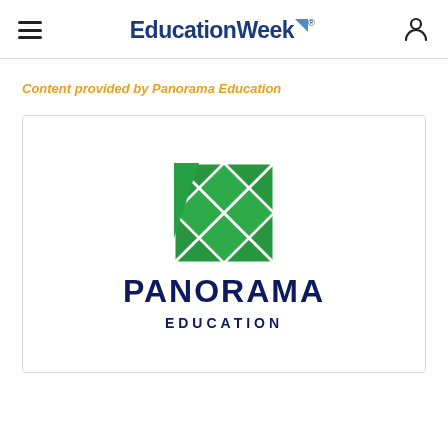EducationWeek
Content provided by Panorama Education
[Figure (logo): Panorama Education logo: green tangram-style square icon above bold dark navy text reading PANORAMA EDUCATION]